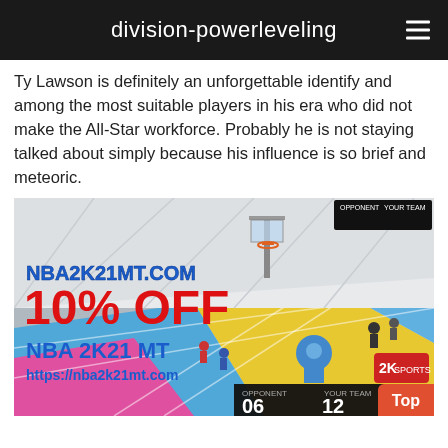division-powerleveling
Ty Lawson is definitely an unforgettable identify and among the most suitable players in his era who did not make the All-Star workforce. Probably he is not staying talked about simply because his influence is so brief and meteoric.
[Figure (screenshot): NBA 2K21 game screenshot with advertisement overlay showing NBA2K21MT.COM, 10% OFF, NBA 2K21 MT, https://nba2k21mt.com, scoreboard showing OPPONENT 06 YOUR TEAM 12]